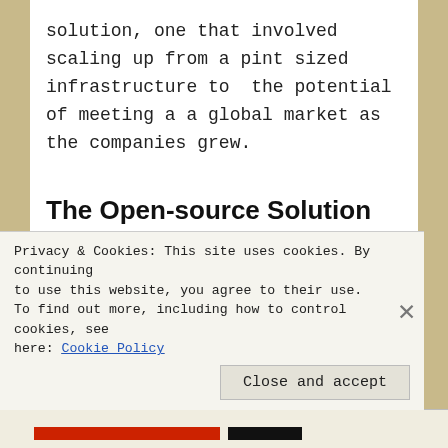solution, one that involved scaling up from a pint sized infrastructure to  the potential of meeting a a global market as the companies grew.
The Open-source Solution
Following the dot.com crash, open-source software became increasingly valued within Web 2.0 operations. Linux supplanted
Privacy & Cookies: This site uses cookies. By continuing to use this website, you agree to their use.
To find out more, including how to control cookies, see here: Cookie Policy
Close and accept